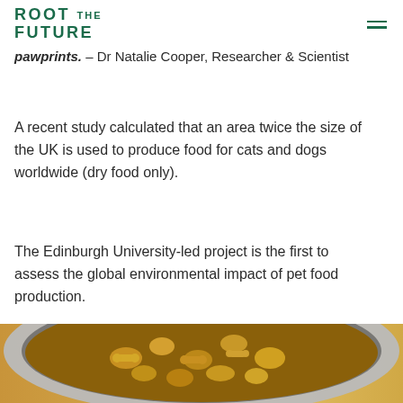ROOT THE FUTURE
pawprints. – Dr Natalie Cooper, Researcher & Scientist
A recent study calculated that an area twice the size of the UK is used to produce food for cats and dogs worldwide (dry food only).
The Edinburgh University-led project is the first to assess the global environmental impact of pet food production.
[Figure (photo): Close-up photo of a stainless steel pet food bowl filled with bone-shaped dry kibble pieces, on a wooden surface]